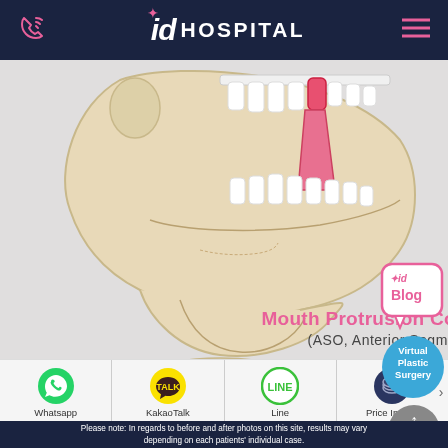id HOSPITAL
[Figure (illustration): Medical illustration of a jaw/mandible cross-section showing teeth with a highlighted tooth/bone graft segment in pink/red indicating anterior segmental osteotomy procedure]
Mouth Protrusion Correction Surgery
(ASO, Anterior Segmental Osteotomy)
[Figure (illustration): Partial view of skull/jaw illustration at bottom of content area]
[Figure (logo): id Blog button - pink speech bubble with star and id Blog text]
[Figure (logo): Virtual Plastic Surgery - blue circle button]
[Figure (logo): TOP scroll button - gray circle with up arrow]
[Figure (logo): WhatsApp green circle icon]
Whatsapp
[Figure (logo): KakaoTalk yellow circle icon with TALK text]
KakaoTalk
[Figure (logo): LINE green circle icon]
Line
[Figure (logo): Price Inquiry navy circle icon with coins]
Price Inquiry
Please note: In regards to before and after photos on this site, results may vary depending on each patients' individual case.